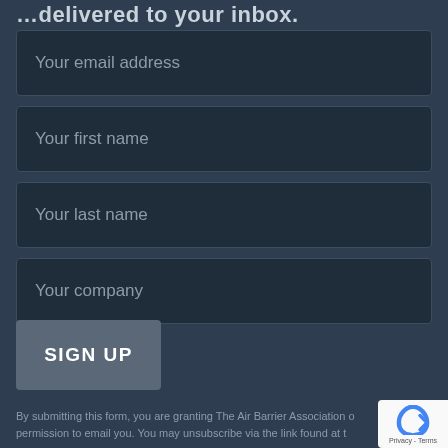…delivered to your inbox.
Your email address
Your first name
Your last name
Your company
SIGN UP
By submitting this form, you are granting The Air Barrier Association of permission to email you. You may unsubscribe via the link found at t…